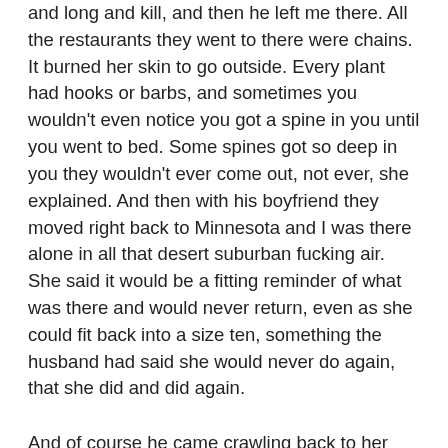and long and kill, and then he left me there. All the restaurants they went to there were chains. It burned her skin to go outside. Every plant had hooks or barbs, and sometimes you wouldn't even notice you got a spine in you until you went to bed. Some spines got so deep in you they wouldn't ever come out, not ever, she explained. And then with his boyfriend they moved right back to Minnesota and I was there alone in all that desert suburban fucking air. She said it would be a fitting reminder of what was there and would never return, even as she could fit back into a size ten, something the husband had said she would never do again, that she did and did again.
And of course he came crawling back to her when his boyfriend left him in frozen Minnesota. You're my best friend, he'd said. You're the only one who really knows me. Yes, she said, that's true, I know you, but I am not your friend. She would go back to Minnesota but not